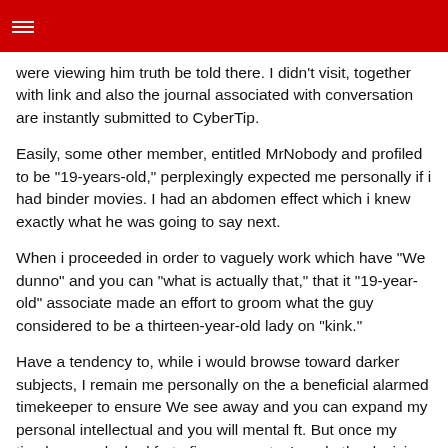were viewing him truth be told there. I didn’t visit, together with link and also the journal associated with conversation are instantly submitted to CyberTip.
Easily, some other member, entitled MrNobody and profiled to be “19-years-old,” perplexingly expected me personally if i had binder movies. I had an abdomen effect which i knew exactly what he was going to say next.
When i proceeded in order to vaguely work which have “We dunno” and you can “what is actually that,” that it “19-year-old” associate made an effort to groom what the guy considered to be a thirteen-year-old lady on “kink.”
Have a tendency to, while i would browse toward darker subjects, I remain me personally on the a beneficial alarmed timekeeper to ensure We see away and you can expand my personal intellectual and you will mental ft. But once my timekeeper clocked forty-five moments, I made the decision